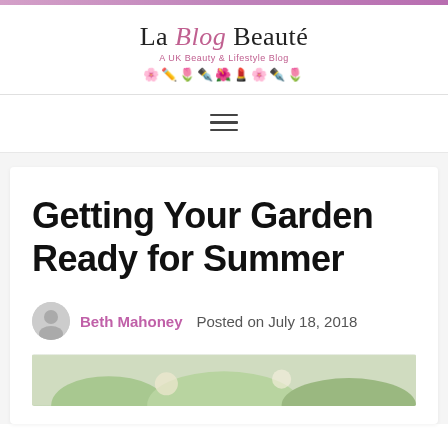La Blog Beauté — A UK Beauty & Lifestyle Blog
[Figure (logo): La Blog Beauté blog logo with decorative beauty icons and subtitle 'A UK Beauty & Lifestyle Blog']
Getting Your Garden Ready for Summer
Beth Mahoney   Posted on July 18, 2018
[Figure (photo): Partial view of garden/flower image at bottom of page]